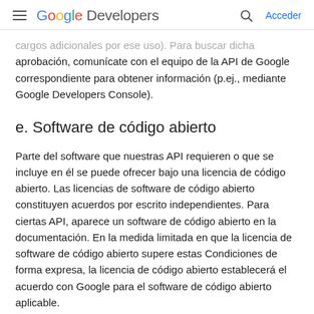Google Developers — Acceder
cargos adicionales por ese uso). Para buscar dicha aprobación, comunícate con el equipo de la API de Google correspondiente para obtener información (p.ej., mediante Google Developers Console).
e. Software de código abierto
Parte del software que nuestras API requieren o que se incluye en él se puede ofrecer bajo una licencia de código abierto. Las licencias de software de código abierto constituyen acuerdos por escrito independientes. Para ciertas API, aparece un software de código abierto en la documentación. En la medida limitada en que la licencia de software de código abierto supere estas Condiciones de forma expresa, la licencia de código abierto establecerá el acuerdo con Google para el software de código abierto aplicable.